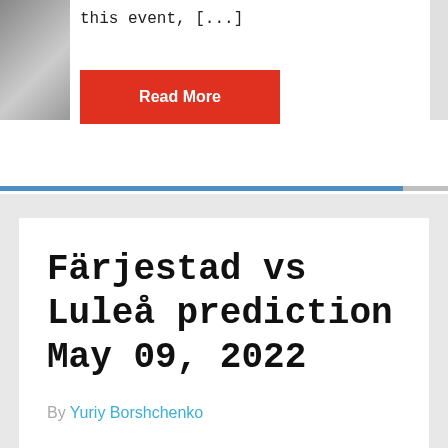this event, [...]
Read More
Färjestad vs Luleå prediction May 09, 2022
By Yuriy Borshchenko